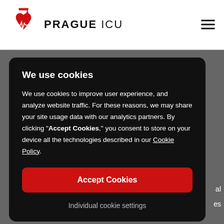[Figure (logo): Prague ICU logo with red heart and graduation cap icon, followed by PRAGUE ICU text]
We use cookies
We use cookies to improve user experience, and analyze website traffic. For these reasons, we may share your site usage data with our analytics partners. By clicking “Accept Cookies,” you consent to store on your device all the technologies described in our Cookie Policy.
Accept Cookies
Individual cookie settings
Video courses